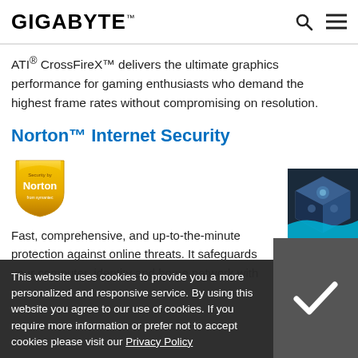GIGABYTE
ATI® CrossFireX™ delivers the ultimate graphics performance for gaming enthusiasts who demand the highest frame rates without compromising on resolution.
Norton™ Internet Security
[Figure (logo): Norton Security by Symantec yellow shield logo]
[Figure (illustration): 3D Industry promotional banner with isometric building image]
Fast, comprehensive, and up-to-the-minute protection against online threats. It safeguards your computer, identity and home network with
This website uses cookies to provide you a more personalized and responsive service. By using this website you agree to our use of cookies. If you require more information or prefer not to accept cookies please visit our Privacy Policy